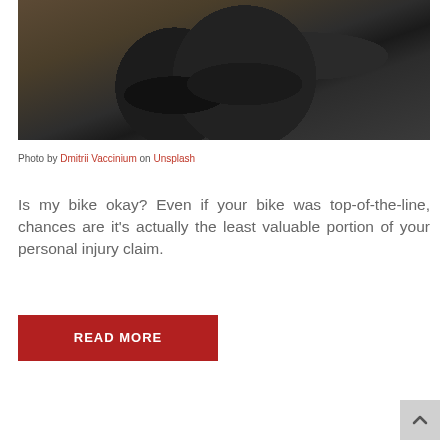[Figure (photo): A bicycle lying on its side on a road/pavement surface, dark background, appears to be after an accident]
Photo by Dmitrii Vaccinium on Unsplash
Is my bike okay? Even if your bike was top-of-the-line, chances are it's actually the least valuable portion of your personal injury claim.
READ MORE